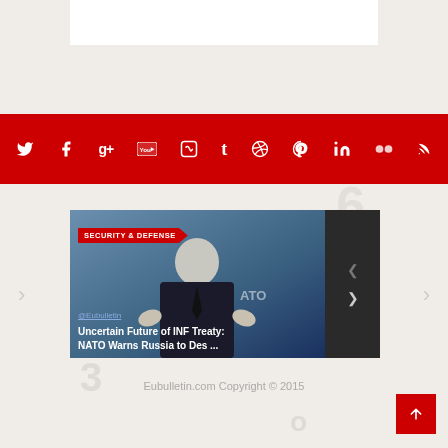[Figure (screenshot): White content area / image placeholder at top]
[Figure (infographic): Red social media bar with icons: Twitter, Facebook, Google+, YouTube, Vimeo, Tumblr, Dribbble, Pinterest, LinkedIn, Flickr, RSS]
[Figure (photo): Article card showing a man in suit at NATO backdrop, with category tag SECURITY & DEFENSE, author @Eubulletin, headline Uncertain Future of INF Treaty: NATO Warns Russia to Des ..., dark side panel with navigation arrows]
Eubulletin.com Copyright © 2015